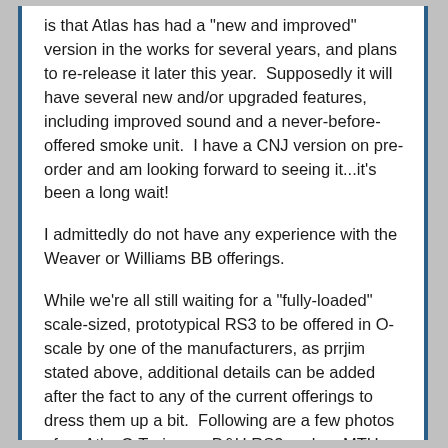is that Atlas has had a "new and improved" version in the works for several years, and plans to re-release it later this year.  Supposedly it will have several new and/or upgraded features, including improved sound and a never-before-offered smoke unit.  I have a CNJ version on pre-order and am looking forward to seeing it...it's been a long wait!
I admittedly do not have any experience with the Weaver or Williams BB offerings.
While we're all still waiting for a "fully-loaded" scale-sized, prototypical RS3 to be offered in O-scale by one of the manufacturers, as prrjim stated above, additional details can be added after the fact to any of the current offerings to dress them up a bit.  Following are a few photos of an AtlasO Trainman D&H RS3 and an MTH RailKing CNJ RS D4